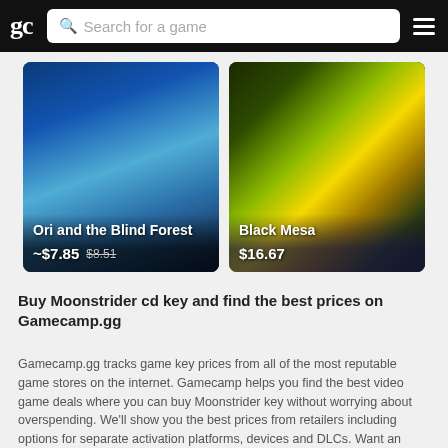gc | Search for a game
[Figure (screenshot): Game card for Ori and the Blind Forest showing a blue fantasy art image with price ~$7.85 (was $8.51)]
[Figure (screenshot): Game card for Black Mesa showing a green/yellow explosion art image with price $16.67]
Buy Moonstrider cd key and find the best prices on Gamecamp.gg
Gamecamp.gg tracks game key prices from all of the most reputable game stores on the internet. Gamecamp helps you find the best video game deals where you can buy Moonstrider key without worrying about overspending. We'll show you the best prices from retailers including options for separate activation platforms, devices and DLCs. Want an even lower Moonstrider price? Come back later to check if the prices have dropped. We will get you the best price for Moonstrider cd key, guaranteed.